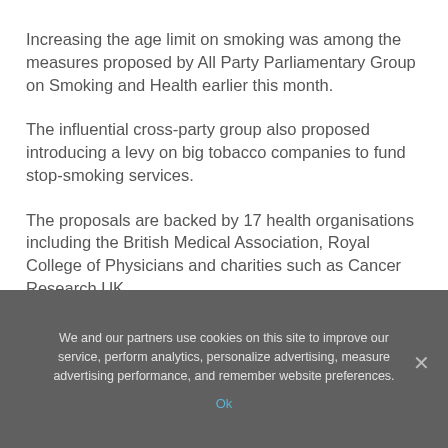Increasing the age limit on smoking was among the measures proposed by All Party Parliamentary Group on Smoking and Health earlier this month.
The influential cross-party group also proposed introducing a levy on big tobacco companies to fund stop-smoking services.
The proposals are backed by 17 health organisations including the British Medical Association, Royal College of Physicians and charities such as Cancer Research UK
We and our partners use cookies on this site to improve our service, perform analytics, personalize advertising, measure advertising performance, and remember website preferences.
Ok